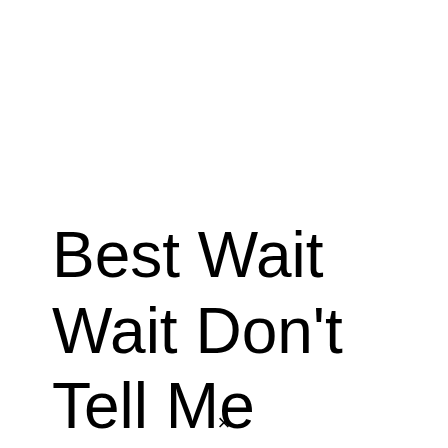Best Wait Wait Don't Tell Me Episodes
×